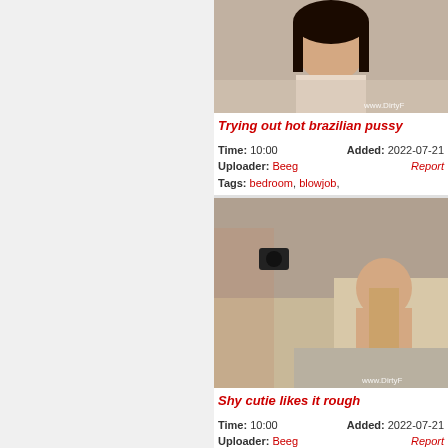[Figure (photo): Video thumbnail showing a smiling dark-haired woman with watermark www.DirtyF]
Trying out hot brazilian pussy
Time: 10:00   Added: 2022-07-21
Uploader: Beeg   Report
Tags: bedroom, blowjob,
[Figure (photo): Video thumbnail showing explicit adult content with watermark www.DirtyF]
Shy cutie likes it rough
Time: 10:00   Added: 2022-07-21
Uploader: Beeg   Report
Tags: bedroom, blowjob,
[Figure (photo): Partial video thumbnail at bottom of page]